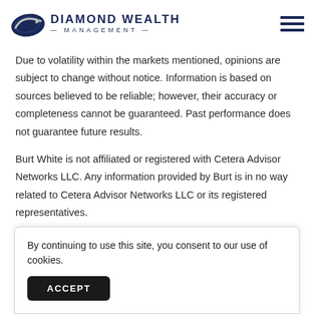Diamond Wealth Management
Due to volatility within the markets mentioned, opinions are subject to change without notice. Information is based on sources believed to be reliable; however, their accuracy or completeness cannot be guaranteed. Past performance does not guarantee future results.
Burt White is not affiliated or registered with Cetera Advisor Networks LLC. Any information provided by Burt is in no way related to Cetera Advisor Networks LLC or its registered representatives.
By continuing to use this site, you consent to our use of cookies.